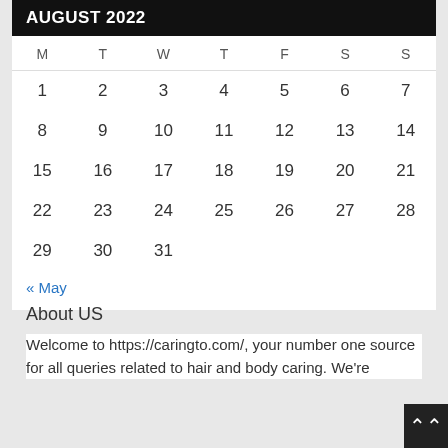| M | T | W | T | F | S | S |
| --- | --- | --- | --- | --- | --- | --- |
| 1 | 2 | 3 | 4 | 5 | 6 | 7 |
| 8 | 9 | 10 | 11 | 12 | 13 | 14 |
| 15 | 16 | 17 | 18 | 19 | 20 | 21 |
| 22 | 23 | 24 | 25 | 26 | 27 | 28 |
| 29 | 30 | 31 |  |  |  |  |
« May
About US
Welcome to https://caringto.com/, your number one source for all queries related to hair and body caring. We're